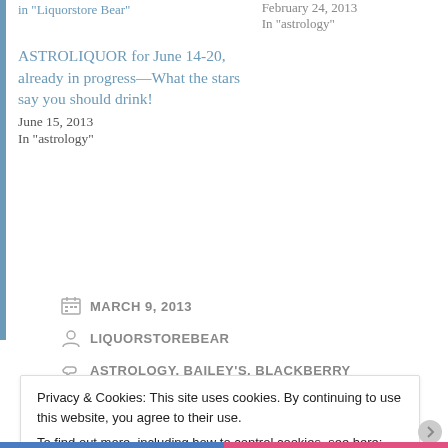in "Liquorstore Bear"
February 24, 2013
In "astrology"
ASTROLIQUOR for June 14-20, already in progress—What the stars say you should drink!
June 15, 2013
In "astrology"
MARCH 9, 2013
LIQUORSTOREBEAR
ASTROLOGY, BAILEY'S, BLACKBERRY
Privacy & Cookies: This site uses cookies. By continuing to use this website, you agree to their use.
To find out more, including how to control cookies, see here: Cookie Policy
Close and accept